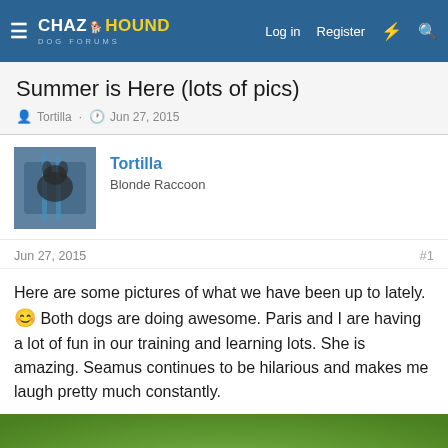CHAZ HOUND DOG FORUMS — Log in  Register
Summer is Here (lots of pics)
Tortilla · Jun 27, 2015
Tortilla
Blonde Raccoon
Jun 27, 2015  #1
Here are some pictures of what we have been up to lately. 🙂 Both dogs are doing awesome. Paris and I are having a lot of fun in our training and learning lots. She is amazing. Seamus continues to be hilarious and makes me laugh pretty much constantly.
[Figure (photo): Blurred green grass field with yellow dandelion flowers, bottom portion of a forum post image]